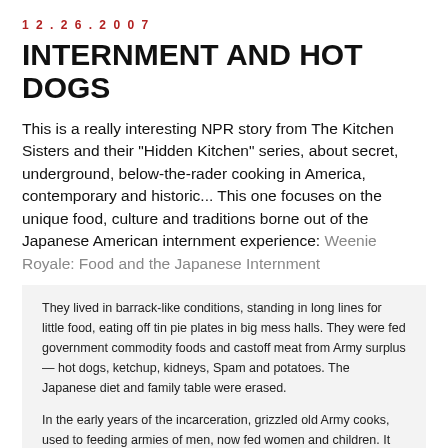12.26.2007
INTERNMENT AND HOT DOGS
This is a really interesting NPR story from The Kitchen Sisters and their "Hidden Kitchen" series, about secret, underground, below-the-rader cooking in America, contemporary and historic... This one focuses on the unique food, culture and traditions borne out of the Japanese American internment experience: Weenie Royale: Food and the Japanese Internment
They lived in barrack-like conditions, standing in long lines for little food, eating off tin pie plates in big mess halls. They were fed government commodity foods and castoff meat from Army surplus — hot dogs, ketchup, kidneys, Spam and potatoes. The Japanese diet and family table were erased.
In the early years of the incarceration, grizzled old Army cooks, used to feeding armies of men, now fed women and children. It was wartime, with strict rationing for everyone. At the Topaz Internment Camp in central Utah, it was decided that no one except children under 12 would receive milk — 6 ounces a day. Pregnant women, because their children were unborn, were not allowed any milk. Tami Tomoye